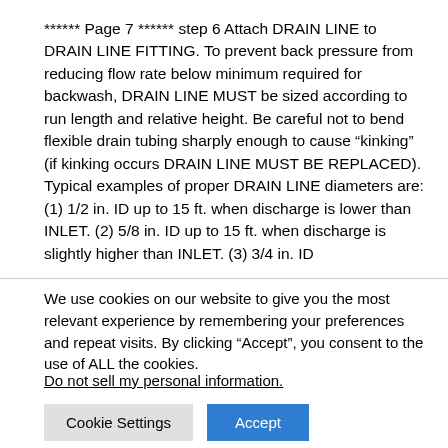****** Page 7 ****** step 6 Attach DRAIN LINE to DRAIN LINE FITTING. To prevent back pressure from reducing flow rate below minimum required for backwash, DRAIN LINE MUST be sized according to run length and relative height. Be careful not to bend flexible drain tubing sharply enough to cause "kinking" (if kinking occurs DRAIN LINE MUST BE REPLACED). Typical examples of proper DRAIN LINE diameters are: (1) 1/2 in. ID up to 15 ft. when discharge is lower than INLET. (2) 5/8 in. ID up to 15 ft. when discharge is slightly higher than INLET. (3) 3/4 in. ID
We use cookies on our website to give you the most relevant experience by remembering your preferences and repeat visits. By clicking "Accept", you consent to the use of ALL the cookies.
Do not sell my personal information.
Cookie Settings   Accept